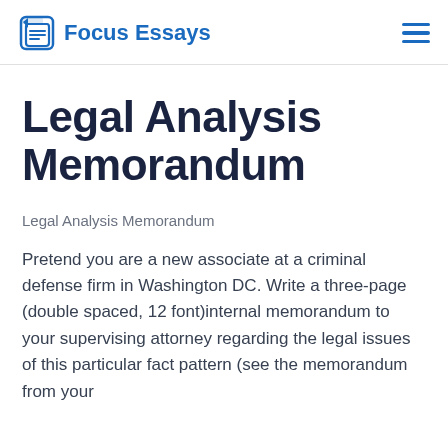Focus Essays
Legal Analysis Memorandum
Legal Analysis Memorandum
Pretend you are a new associate at a criminal defense firm in Washington DC. Write a three-page (double spaced, 12 font)internal memorandum to your supervising attorney regarding the legal issues of this particular fact pattern (see the memorandum from your